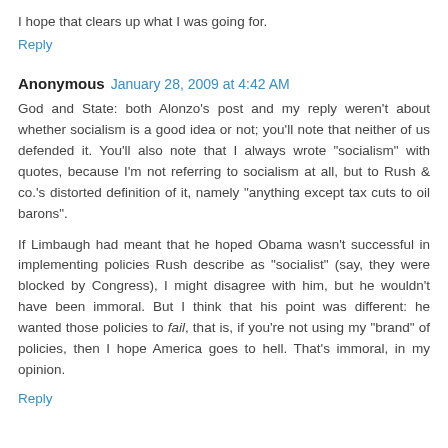I hope that clears up what I was going for.
Reply
Anonymous  January 28, 2009 at 4:42 AM
God and State: both Alonzo's post and my reply weren't about whether socialism is a good idea or not; you'll note that neither of us defended it. You'll also note that I always wrote "socialism" with quotes, because I'm not referring to socialism at all, but to Rush & co.'s distorted definition of it, namely "anything except tax cuts to oil barons".
If Limbaugh had meant that he hoped Obama wasn't successful in implementing policies Rush describe as "socialist" (say, they were blocked by Congress), I might disagree with him, but he wouldn't have been immoral. But I think that his point was different: he wanted those policies to fail, that is, if you're not using my "brand" of policies, then I hope America goes to hell. That's immoral, in my opinion.
Reply